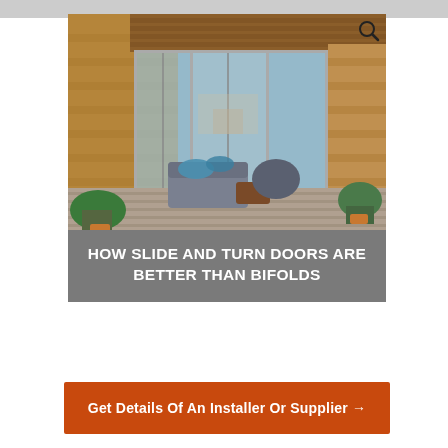[Figure (photo): Exterior view of a modern home extension with large sliding glass doors, brick walls, timber ceiling, and outdoor furniture including a sofa with blue cushions on a wooden deck surrounded by plants]
HOW SLIDE AND TURN DOORS ARE BETTER THAN BIFOLDS
Get Details Of An Installer Or Supplier →